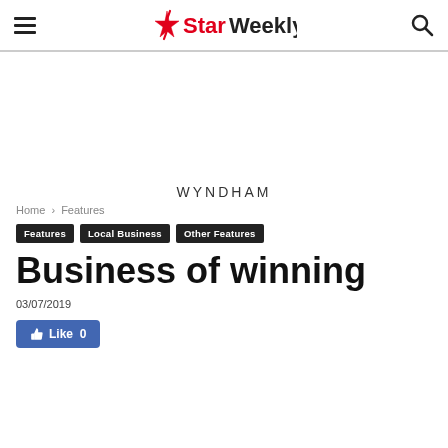Star Weekly
[Figure (other): Advertisement/blank area below header]
WYNDHAM
Home › Features
Features
Local Business
Other Features
Business of winning
03/07/2019
Like 0